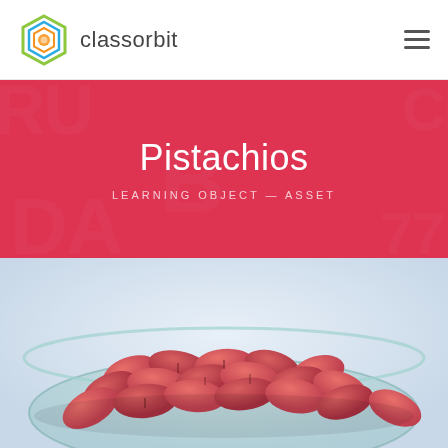[Figure (logo): Classorbit logo: hexagonal colorful icon with classorbit text]
Pistachios
LEARNING OBJECT — ASSET
[Figure (photo): Photo of a glass bowl filled with pink/red pistachios on a light background]